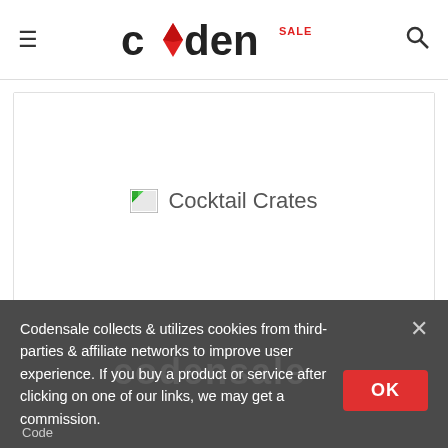coden SALE
[Figure (screenshot): Broken image placeholder with alt text 'Cocktail Crates']
Cocktail Crates
[Figure (other): Five filled star rating icons]
Rated 5 from 1 votes
Codensale collects & utilizes cookies from third-parties & affiliate networks to improve user experience. If you buy a product or service after clicking on one of our links, we may get a commission.